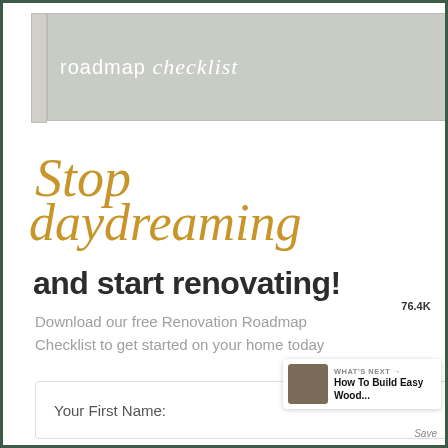[Figure (photo): Partial view of a renovation roadmap checklist booklet/document with a gray cover showing the text 'roadmap checklist']
Stop daydreaming and start renovating!
Download our free Renovation Roadmap Checklist to get started on your home today
Your First Name:
[Figure (infographic): UI overlay elements: heart/save button showing 76.4K saves, share button, and 'What's Next' panel showing 'How To Build Easy Wood...']